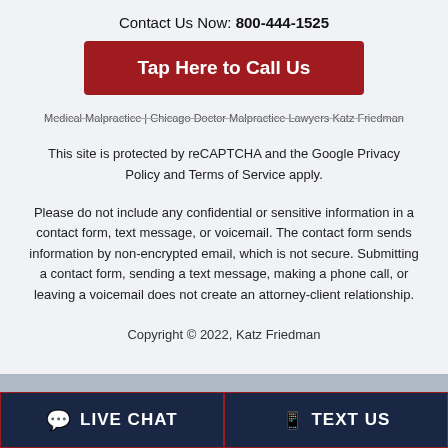Contact Us Now: 800-444-1525
Tap Here to Call Us
Medical Malpractice | Chicago Doctor Malpractice Lawyers Katz Friedman
This site is protected by reCAPTCHA and the Google Privacy Policy and Terms of Service apply.
Please do not include any confidential or sensitive information in a contact form, text message, or voicemail. The contact form sends information by non-encrypted email, which is not secure. Submitting a contact form, sending a text message, making a phone call, or leaving a voicemail does not create an attorney-client relationship.
Copyright © 2022, Katz Friedman
LIVE CHAT
TEXT US